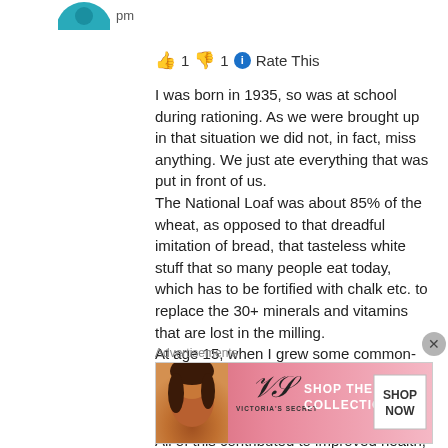[Figure (photo): Partial avatar/profile image at top left, teal/blue circle, partially cropped]
pm
👍 1 👎 1 ℹ Rate This
I was born in 1935, so was at school during rationing. As we were brought up in that situation we did not, in fact, miss anything. We just ate everything that was put in front of us.
The National Loaf was about 85% of the wheat, as opposed to that dreadful imitation of bread, that tasteless white stuff that so many people eat today, which has to be fortified with chalk etc. to replace the 30+ minerals and vitamins that are lost in the milling.
At age 15, when I grew some common-sense I ate only 100% wholewheat bread, full of all the natural goodness, including essential fibre.
All of this contributed to improved health, as claimed by the official medical authority:
http://www.medicalnewstoday.com/releases/97
Advertisements
[Figure (photo): Victoria's Secret advertisement banner with woman's face on left, VS logo, SHOP THE COLLECTION text, and SHOP NOW button]